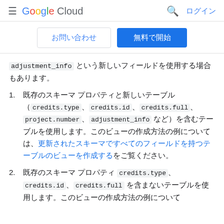≡ Google Cloud  🔍 ログイン
お問い合わせ　無料で開始
adjustment_info という新しいフィールドを使用する場合もあります。
1. 既存のスキーマ プロパティと新しいテーブル（credits.type、credits.id、credits.full、project.number、adjustment_info など）を含むテーブルを使用します。このビューの作成方法の例については、更新されたスキーマですべてのフィールドを持つテーブルのビューを作成するをご覧ください。
2. 既存のスキーマ プロパティ credits.type、credits.id、credits.full を含まないテーブルを使用します。このビューの作成方法の例について